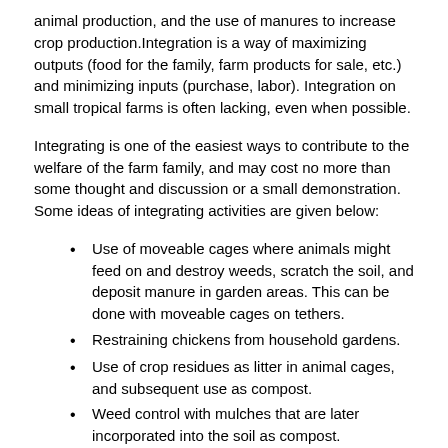animal production, and the use of manures to increase crop production.Integration is a way of maximizing outputs (food for the family, farm products for sale, etc.) and minimizing inputs (purchase, labor). Integration on small tropical farms is often lacking, even when possible.
Integrating is one of the easiest ways to contribute to the welfare of the farm family, and may cost no more than some thought and discussion or a small demonstration. Some ideas of integrating activities are given below:
Use of moveable cages where animals might feed on and destroy weeds, scratch the soil, and deposit manure in garden areas. This can be done with moveable cages on tethers.
Restraining chickens from household gardens.
Use of crop residues as litter in animal cages, and subsequent use as compost.
Weed control with mulches that are later incorporated into the soil as compost.
Off-season crop manuring with appropriate species.